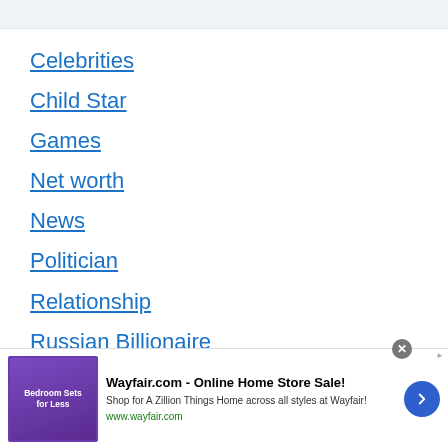Celebrities
Child Star
Games
Net worth
News
Politician
Relationship
Russian Billionaire
Tik Tok Star
[Figure (other): Advertisement banner for Wayfair.com - Online Home Store Sale! with bedroom sets image, text 'Shop for A Zillion Things Home across all styles at Wayfair!' and URL www.wayfair.com]